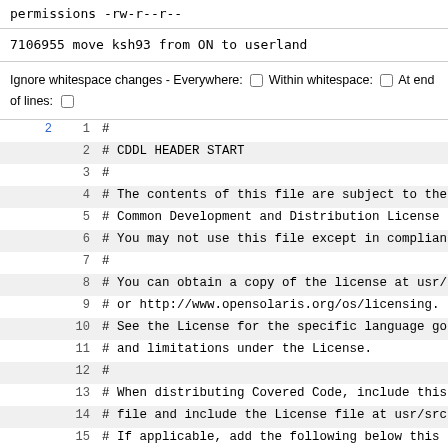permissions    -rw-r--r--
7106955 move ksh93 from ON to userland
Ignore whitespace changes - Everywhere: ☐ Within whitespace: ☐ At end of lines: ☐
2	1	#
	2	# CDDL HEADER START
	3	#
	4	# The contents of this file are subject to the
	5	# Common Development and Distribution License
	6	# You may not use this file except in complian
	7	#
	8	# You can obtain a copy of the license at usr/
	9	# or http://www.opensolaris.org/os/licensing.
	10	# See the License for the specific language go
	11	# and limitations under the License.
	12	#
	13	# When distributing Covered Code, include this
	14	# file and include the License file at usr/src
	15	# If applicable, add the following below this
	16	# fields enclosed by brackets "[]" replaced wi
	17	# information: Portions Copyright [yyyy] [name